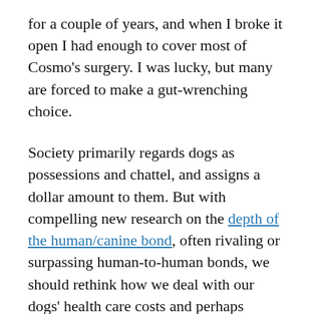for a couple of years, and when I broke it open I had enough to cover most of Cosmo's surgery. I was lucky, but many are forced to make a gut-wrenching choice.
Society primarily regards dogs as possessions and chattel, and assigns a dollar amount to them. But with compelling new research on the depth of the human/canine bond, often rivaling or surpassing human-to-human bonds, we should rethink how we deal with our dogs' health care costs and perhaps subsidize our dogs' health.
Veterinary care is not inexpensive. Treatments for cancer can run up to $15,000, according to